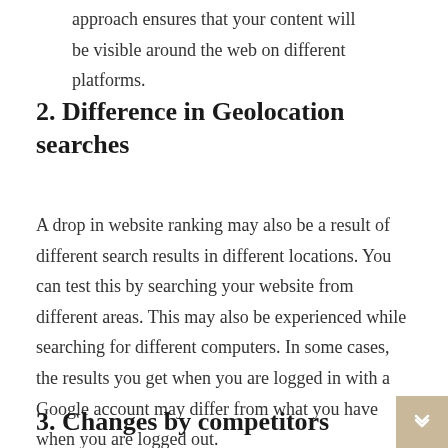approach ensures that your content will be visible around the web on different platforms.
2. Difference in Geolocation searches
A drop in website ranking may also be a result of different search results in different locations. You can test this by searching your website from different areas. This may also be experienced while searching for different computers. In some cases, the results you get when you are logged in with a Google account may differ from what you have when you are logged out.
3. Changes by competitors